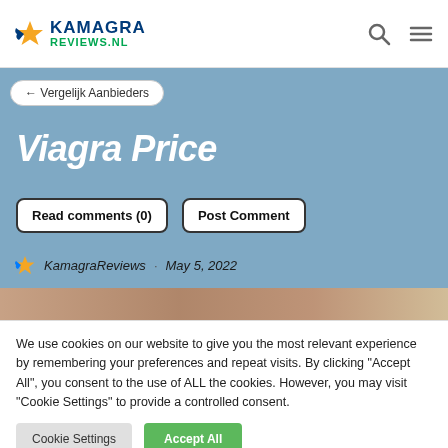KamagraReviews.NL
← Vergelijk Aanbieders
Viagra Price
Read comments (0)
Post Comment
KamagraReviews · May 5, 2022
[Figure (photo): Partial image strip showing a medicine/product photo at the bottom of the hero section]
We use cookies on our website to give you the most relevant experience by remembering your preferences and repeat visits. By clicking "Accept All", you consent to the use of ALL the cookies. However, you may visit "Cookie Settings" to provide a controlled consent.
Cookie Settings
Accept All